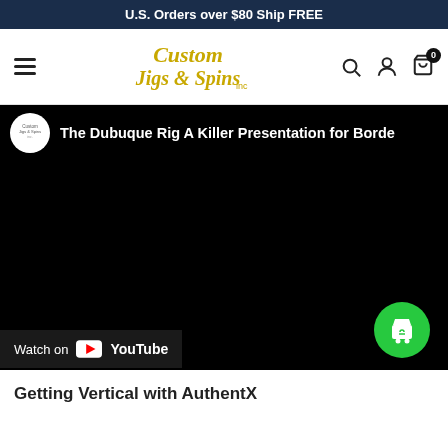U.S. Orders over $80 Ship FREE
[Figure (logo): Custom Jigs & Spins logo in yellow italic script font]
[Figure (screenshot): YouTube video embed showing 'The Dubuque Rig A Killer Presentation for Borde...' with Watch on YouTube bar and green shopping bag button]
Getting Vertical with AuthentX